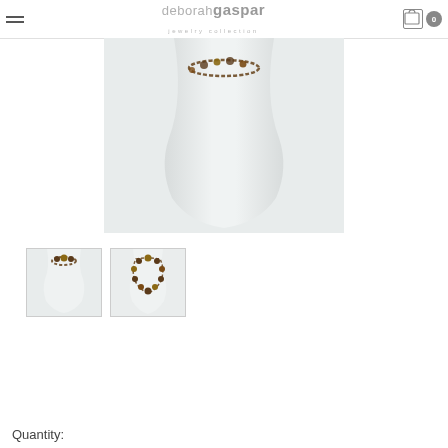deborah gaspar jewelry collection
[Figure (photo): Main product photo: white mannequin torso wearing a necklace with dark beads, on a light grey/white background]
[Figure (photo): Thumbnail 1: white mannequin torso wearing the necklace up close]
[Figure (photo): Thumbnail 2: white mannequin showing full necklace with dark beads]
Quantity: